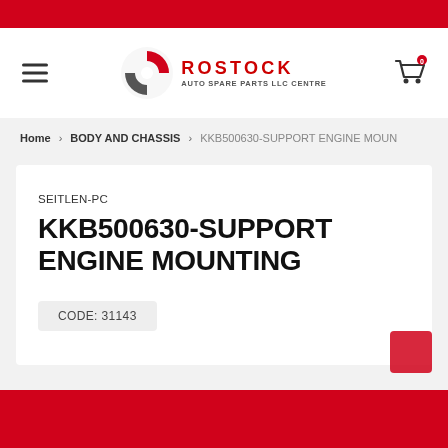[Figure (logo): Rostock Auto Spare Parts LLC Centre logo with red circular emblem and text]
Home > BODY AND CHASSIS > KKB500630-SUPPORT ENGINE MOUN
SEITLEN-PC
KKB500630-SUPPORT ENGINE MOUNTING
CODE: 31143